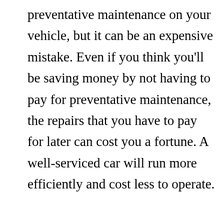preventative maintenance on your vehicle, but it can be an expensive mistake. Even if you think you'll be saving money by not having to pay for preventative maintenance, the repairs that you have to pay for later can cost you a fortune. A well-serviced car will run more efficiently and cost less to operate.
[Figure (photo): A mechanic working underneath a car, looking up at the vehicle's undercarriage. The mechanic is wearing dark clothing and gloves, with tools visible. The photo is taken from below showing the car's mechanical components.]
When your car needs a service